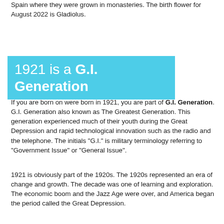Spain where they were grown in monasteries. The birth flower for August 2022 is Gladiolus.
1921 is a G.I. Generation
If you are born on were born in 1921, you are part of G.I. Generation. G.I. Generation also known as The Greatest Generation. This generation experienced much of their youth during the Great Depression and rapid technological innovation such as the radio and the telephone. The initials "G.I." is military terminology referring to "Government Issue" or "General Issue".
1921 is obviously part of the 1920s. The 1920s represented an era of change and growth. The decade was one of learning and exploration. The economic boom and the Jazz Age were over, and America began the period called the Great Depression.